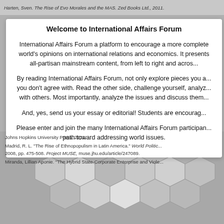Harten, Sven. The Rise of Evo Morales and the MAS. Zed Books Ltd., 2011.
Welcome to International Affairs Forum
International Affairs Forum a platform to encourage a more complete world's opinions on international relations and economics. It presents all-partisan mainstream content, from left to right and acros...
By reading International Affairs Forum, not only explore pieces you agree with, you don't agree with. Read the other side, challenge yourself, analyze with others. Most importantly, analyze the issues and discuss them...
And, yes, send us your essay or editorial! Students are encouraged...
Please enter and join the many International Affairs Forum participants... path toward addressing world issues.
Johns Hopkins University Press, 2011.
Madrid, R. L. "The Rise of Ethnopopulism in Latin America." World Politics, 2008, pp. 475-508. Project MUSE, muse.jhu.edu/article/247089.
Miranda, Lillian Aponie. "The Hybrid State-Corporate Enterprise and Viole...